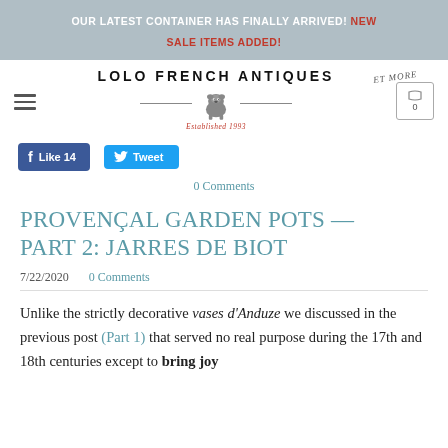OUR LATEST CONTAINER HAS FINALLY ARRIVED! NEW SALE ITEMS ADDED!
[Figure (logo): Lolo French Antiques Et More logo with bulldog mascot and decorative lines, established 1993]
[Figure (other): Facebook Like 14 and Twitter Tweet social sharing buttons]
0 Comments
PROVENÇAL GARDEN POTS — PART 2: JARRES DE BIOT
7/22/2020    0 Comments
Unlike the strictly decorative vases d'Anduze we discussed in the previous post (Part 1) that served no real purpose during the 17th and 18th centuries except to bring joy